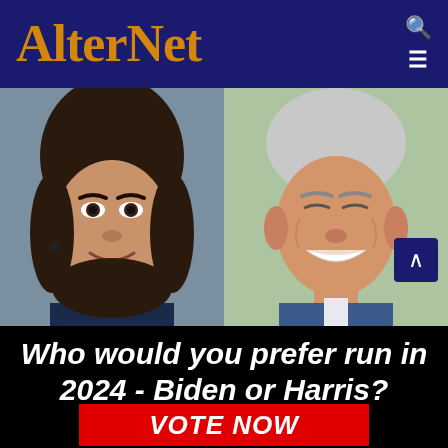AlterNet
[Figure (photo): Side-by-side headshot photos of Kamala Harris (left) and Joe Biden (right) smiling]
Who would you prefer run in 2024 - Biden or Harris?
VOTE NOW